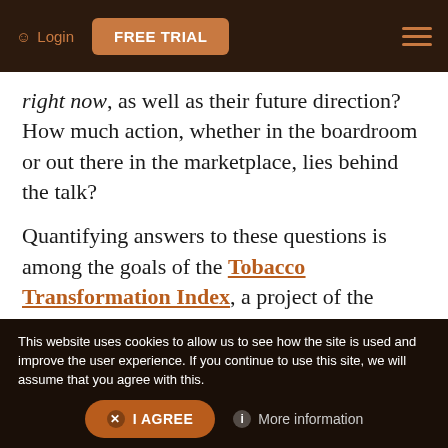Login  FREE TRIAL
right now, as well as their future direction? How much action, whether in the boardroom or out there in the marketplace, lies behind the talk?
Quantifying answers to these questions is among the goals of the Tobacco Transformation Index, a project of the Foundation for a Smoke-Free World (FSFW) which published its first edition in 2020 and
This website uses cookies to allow us to see how the site is used and improve the user experience. If you continue to use this site, we will assume that you agree with this.